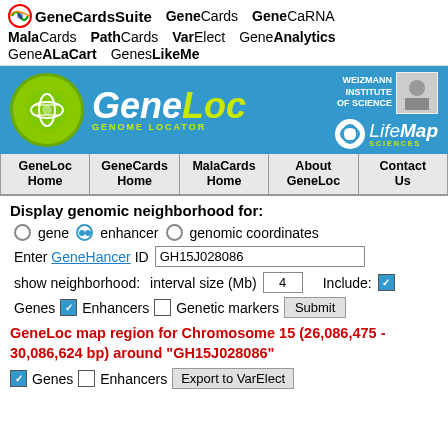GeneCardsSuite | GeneCards | GeneCaRNA | MalaCards | PathCards | VarElect | GeneAnalytics | GeneALaCart | GenesLikeMe
[Figure (screenshot): GeneCardsSuite navigation bar with logo and product links]
[Figure (logo): GeneLoc Genome Locator banner with Weizmann Institute of Science and LifeMap Sciences logos]
GeneLoc Home | GeneCards Home | MalaCards Home | About GeneLoc | Contact Us
Display genomic neighborhood for:
gene  enhancer  genomic coordinates
Enter GeneHancer ID  GH15J028086
show neighborhood:   interval size (Mb)  4   Include:  Genes  Enhancers  Genetic markers  Submit
GeneLoc map region for Chromosome 15 (26,086,475 - 30,086,624 bp) around "GH15J028086"
Genes  Enhancers  Export to VarElect